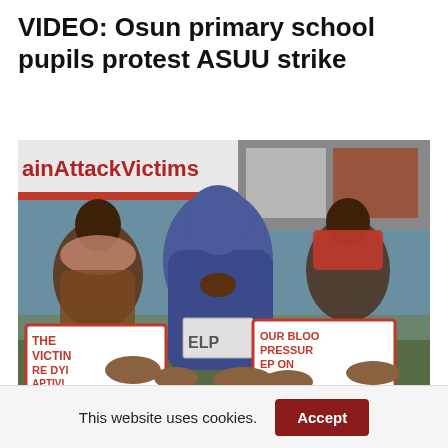VIDEO: Osun primary school pupils protest ASUU strike
[Figure (photo): Protesters sitting on the ground holding signs reading 'THE VICTIMS ARE DYING IN CAPTIVITY', 'OUR BLOOD PRESSURE KEEP ON RISING VERY' and other placards. A banner reading 'AttackVictims' is visible in the background.]
'FG not sleeping' — minister speaks on efforts to rescue remaining Kaduna train…
This website uses cookies.  Accept